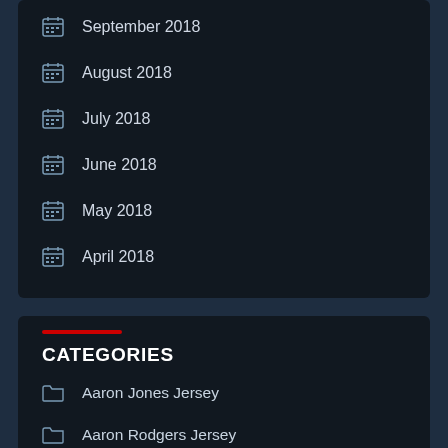September 2018
August 2018
July 2018
June 2018
May 2018
April 2018
CATEGORIES
Aaron Jones Jersey
Aaron Rodgers Jersey
Alex Anzalone Jersey
Alex Goligoski Jersey